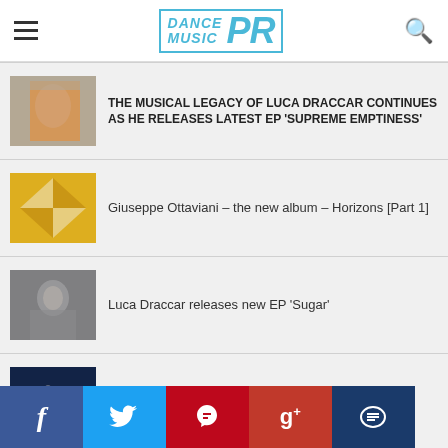Dance Music PR
THE MUSICAL LEGACY OF LUCA DRACCAR CONTINUES AS HE RELEASES LATEST EP ‘SUPREME EMPTINESS’
Giuseppe Ottaviani – the new album – Horizons [Part 1]
Luca Draccar releases new EP ‘Sugar’
Master Yeti Announces New Single ‘LuLu Lemon’ Club Remix
Facebook Twitter Pinterest Google+ Comment